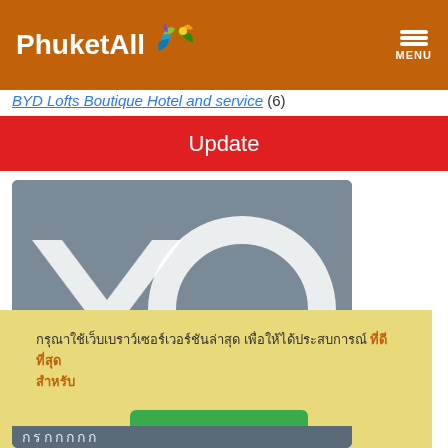PhuketAll — MENU
BYD Lofts Boutique Hotel and service (6)
Update
[Figure (logo): Hotel logo image with large stylized letters on grey background]
Thai language notification text with orange highlighted portion and green confirm button (ยืนยัน)